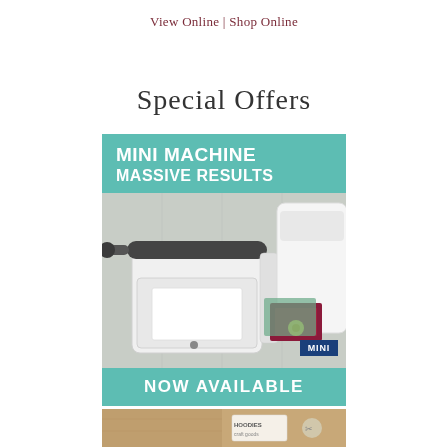View Online | Shop Online
Special Offers
[Figure (infographic): Mini machine advertisement with teal header reading 'MINI MACHINE MASSIVE RESULTS', a photo of a compact die-cutting/embossing machine, a navy 'MINI' badge, and a teal footer reading 'NOW AVAILABLE']
[Figure (photo): Bottom strip showing a partial view of kraft/brown paper products]